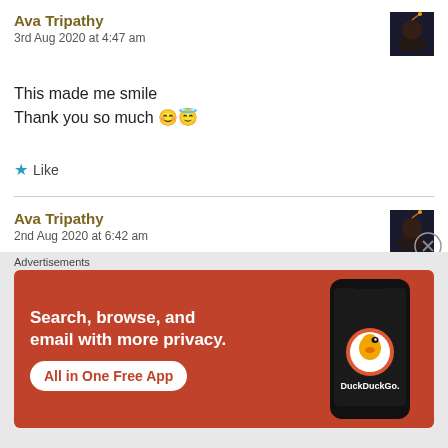Ava Tripathy
3rd Aug 2020 at 4:47 am
This made me smile
Thank you so much 😊😇
★ Like
Ava Tripathy
2nd Aug 2020 at 6:42 am
Absolutely!!!
[Figure (other): DuckDuckGo advertisement banner: Search, browse, and email with more privacy. All in One Free App. Shows a phone with DuckDuckGo logo.]